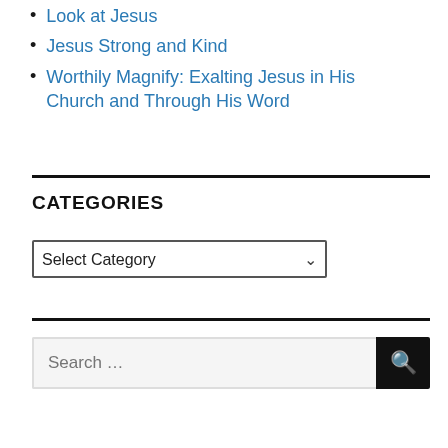Look at Jesus
Jesus Strong and Kind
Worthily Magnify: Exalting Jesus in His Church and Through His Word
CATEGORIES
Select Category
Search …